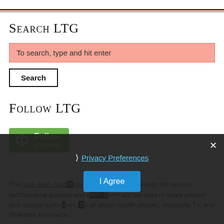Search LTG
To search, type and hit enter
Search
Follow LTG
[Figure (logo): Green Feedly badge with feedly icon and text 'Follow on feedly']
× Privacy Preferences I Agree
This Low-Tech Grandma is finding her way through the various technological gadgets and such. Gone are the days of rotary phones and manual typewriters. It's all about mobile phones, streaming TV, and Bluetooth keyboards.